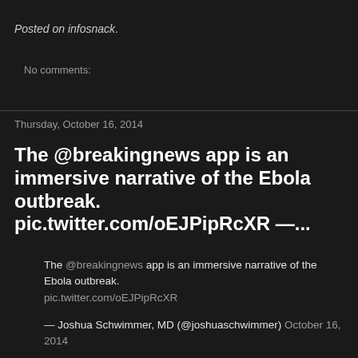Posted on infosnack.
No comments:
Thursday, October 16, 2014
The @breakingnews app is an immersive narrative of the Ebola outbreak. pic.twitter.com/oEJPipRcXR —...
The @breakingnews app is an immersive narrative of the Ebola outbreak. pic.twitter.com/oEJPipRcXR
— Joshua Schwimmer, MD (@joshuaschwimmer) October 16, 2014